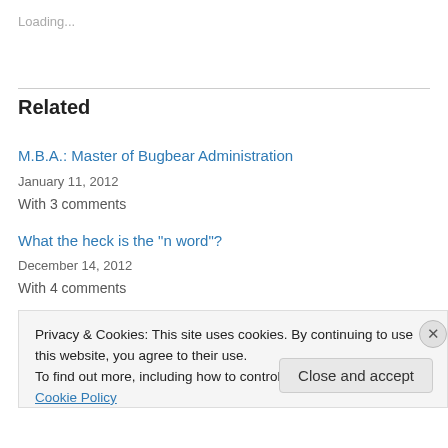Loading...
Related
M.B.A.: Master of Bugbear Administration
January 11, 2012
With 3 comments
What the heck is the "n word"?
December 14, 2012
With 4 comments
Privacy & Cookies: This site uses cookies. By continuing to use this website, you agree to their use.
To find out more, including how to control cookies, see here: Cookie Policy
Close and accept